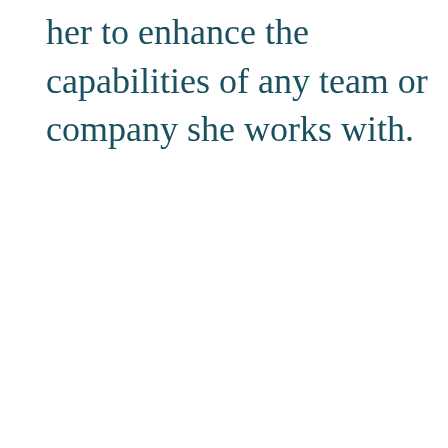her to enhance the capabilities of any team or company she works with.